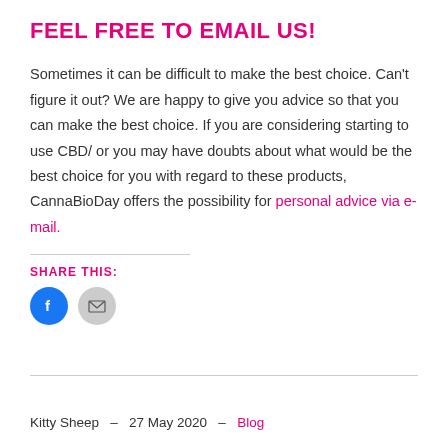FEEL FREE TO EMAIL US!
Sometimes it can be difficult to make the best choice. Can't figure it out? We are happy to give you advice so that you can make the best choice. If you are considering starting to use CBD/ or you may have doubts about what would be the best choice for you with regard to these products, CannaBioDay offers the possibility for personal advice via e-mail.
SHARE THIS:
[Figure (other): Share icons: Facebook (blue circle with white 'f') and Email (grey circle with white envelope)]
Kitty Sheep  –  27 May 2020  –  Blog